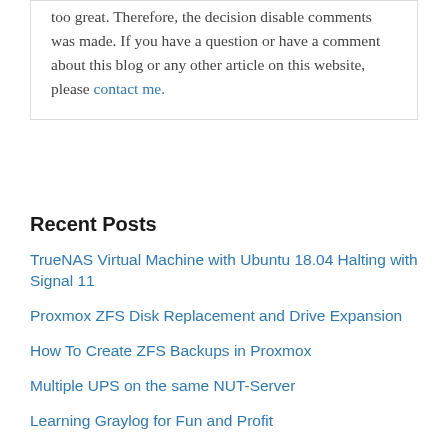too great. Therefore, the decision disable comments was made. If you have a question or have a comment about this blog or any other article on this website, please contact me.
Recent Posts
TrueNAS Virtual Machine with Ubuntu 18.04 Halting with Signal 11
Proxmox ZFS Disk Replacement and Drive Expansion
How To Create ZFS Backups in Proxmox
Multiple UPS on the same NUT-Server
Learning Graylog for Fun and Profit